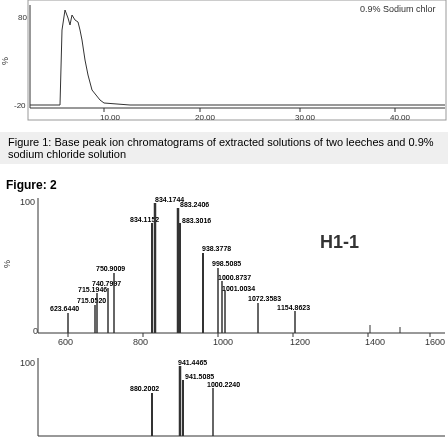[Figure (continuous-plot): Base peak ion chromatogram (top portion, partially visible) showing peaks near 1000 retention time, labeled 0.9% Sodium chloride. Y-axis from -20 to 80%, x-axis from 0 to 40.00.]
Figure 1: Base peak ion chromatograms of extracted solutions of two leeches and 0.9% sodium chloride solution
Figure: 2
[Figure (continuous-plot): Mass spectrum labeled H1-1. X-axis from 600 to 1600 m/z, Y-axis 0-100%. Peaks labeled: 623.6440, 715.0520, 715.1946, 740.7997, 750.9009, 834.1152, 834.1744, 883.2406, 883.3016, 938.3778, 998.5085, 1000.8737, 1001.0034, 1072.3583, 1154.8623.]
[Figure (continuous-plot): Mass spectrum (bottom, partially visible). Peaks labeled: 880.2002, 941.4465, 941.5085, 1000.2240 (partially visible). Y-axis 0-100%.]